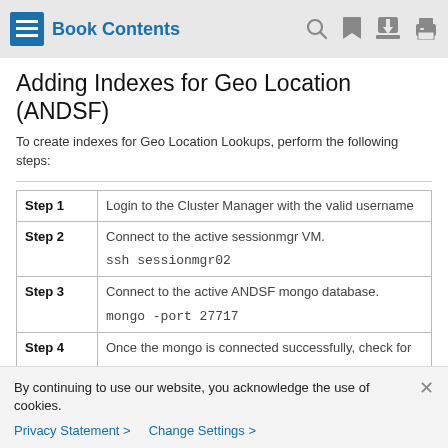Book Contents
Adding Indexes for Geo Location (ANDSF)
To create indexes for Geo Location Lookups, perform the following steps:
| Step | Description |
| --- | --- |
| Step 1 | Login to the Cluster Manager with the valid username |
| Step 2 | Connect to the active sessionmgr VM.
ssh sessionmgr02 |
| Step 3 | Connect to the active ANDSF mongo database.
mongo -port 27717 |
| Step 4 | Once the mongo is connected successfully, check for
set01:PRIMARY> show dbs |
By continuing to use our website, you acknowledge the use of cookies.
Privacy Statement > Change Settings >